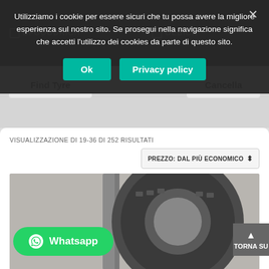Utilizziamo i cookie per essere sicuri che tu possa avere la migliore esperienza sul nostro sito. Se prosegui nella navigazione significa che accetti l'utilizzo dei cookies da parte di questo sito.
Ok
Privacy policy
BFGOODRICH
DEBICA
BRIDGESTONE
DUNLOP
Find Tyre
Cancella
VISUALIZZAZIONE DI 19-36 DI 252 RISULTATI
PREZZO: DAL PIÙ ECONOMICO
[Figure (photo): Two winter tyres with tread visible, mounted on metal rims, against a grey background]
Whatsapp
TORNA SU